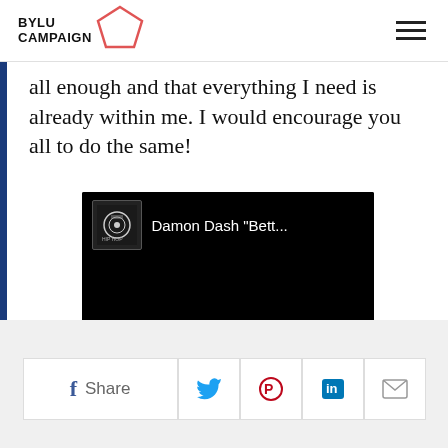BYLU CAMPAIGN
all enough and that everything I need is already within me. I would encourage you all to do the same!
[Figure (screenshot): Embedded video thumbnail showing a Hip Hop channel logo and the title 'Damon Dash "Bett...' on a black background]
Share buttons: Facebook Share, Twitter, Pinterest, LinkedIn, Email